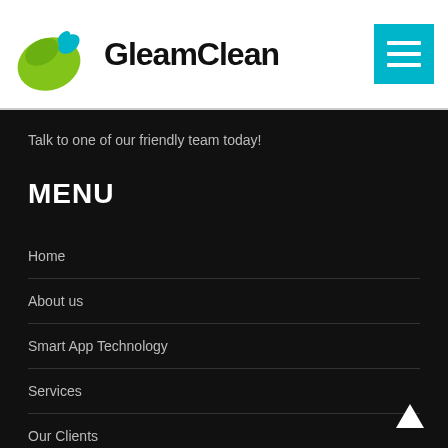[Figure (logo): GleamClean logo: green bird/leaf shape with cyan beak, bold black text 'GleamClean']
[Figure (other): Cyan hamburger menu button with three white horizontal lines]
Talk to one of our friendly team today!
MENU
Home
About us
Smart App Technology
Services
Our Clients